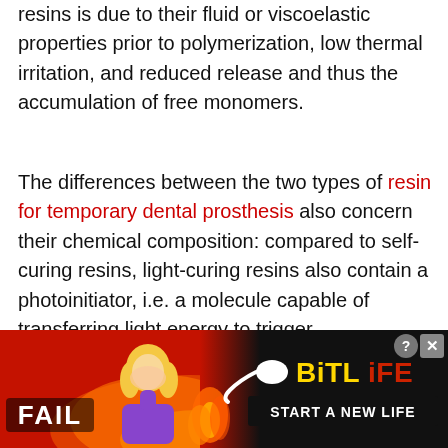resins is due to their fluid or viscoelastic properties prior to polymerization, low thermal irritation, and reduced release and thus the accumulation of free monomers.
The differences between the two types of resin for temporary dental prosthesis also concern their chemical composition: compared to self-curing resins, light-curing resins also contain a photoinitiator, i.e. a molecule capable of transferring light energy to trigger polymerization. On the contrary, a component present in self-curing resins and missing in light-curing resins is a chemically activated accelerator (e.g. N, N-
[Figure (other): Advertisement banner for BitLife mobile game. Red/orange fiery background with 'FAIL' text and cartoon blonde woman facepalming, fire graphic, BitLife logo in yellow on black, tagline 'START A NEW LIFE', close and help buttons.]